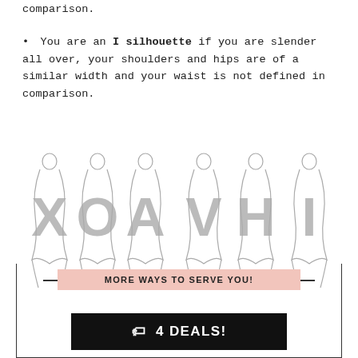comparison.
You are an I silhouette if you are slender all over, your shoulders and hips are of a similar width and your waist is not defined in comparison.
[Figure (illustration): Six body silhouette types illustrated with large letters overlaid: X, O, A, V, H, I — each showing a different female body shape outline.]
MORE WAYS TO SERVE YOU!
4 DEALS!